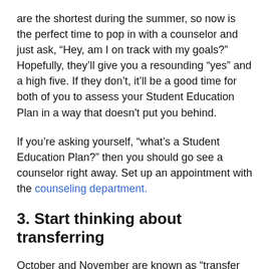are the shortest during the summer, so now is the perfect time to pop in with a counselor and just ask, “Hey, am I on track with my goals?” Hopefully, they’ll give you a resounding “yes” and a high five. If they don’t, it’ll be a good time for both of you to assess your Student Education Plan in a way that doesn't put you behind.
If you’re asking yourself, “what’s a Student Education Plan?” then you should go see a counselor right away. Set up an appointment with the counseling department.
3. Start thinking about transferring
October and November are known as “transfer season” for California State Universities and the University of California. The applications become available those two months and that’s when students can start getting all their materials